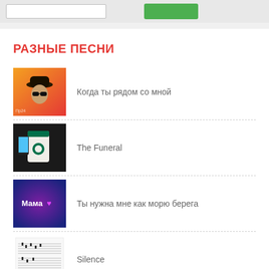[search bar + green button]
РАЗНЫЕ ПЕСНИ
[Figure (photo): Photo of a man wearing sunglasses and a hat against orange background with text overlay]
Когда ты рядом со мной
[Figure (photo): Photo of a Starbucks coffee cup with a phone]
The Funeral
[Figure (photo): Purple background with text 'Мама' and a pink heart emoji]
Ты нужна мне как морю берега
[Figure (photo): Sheet music pages]
Silence